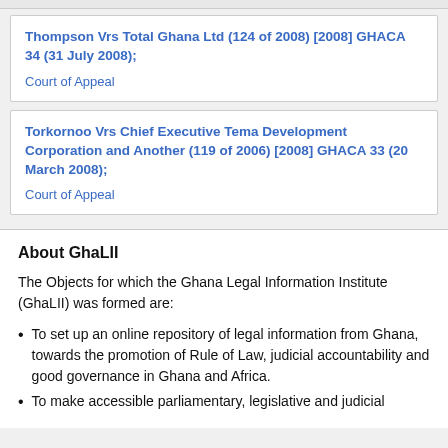Thompson Vrs Total Ghana Ltd (124 of 2008) [2008] GHACA 34 (31 July 2008);
Court of Appeal
Torkornoo Vrs Chief Executive Tema Development Corporation and Another (119 of 2006) [2008] GHACA 33 (20 March 2008);
Court of Appeal
About GhaLII
The Objects for which the Ghana Legal Information Institute (GhaLII) was formed are:
To set up an online repository of legal information from Ghana, towards the promotion of Rule of Law, judicial accountability and good governance in Ghana and Africa.
To make accessible parliamentary, legislative and judicial